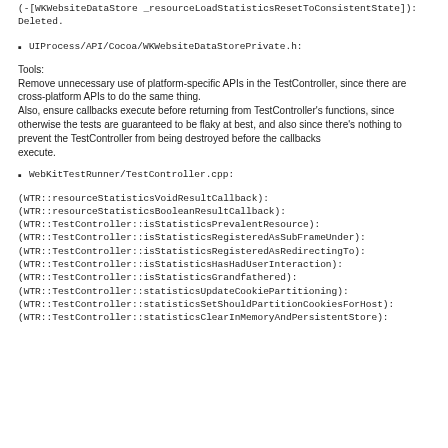(-[WKWebsiteDataStore _resourceLoadStatisticsResetToConsistentState]): Deleted.
UIProcess/API/Cocoa/WKWebsiteDataStorePrivate.h:
Tools:
Remove unnecessary use of platform-specific APIs in the TestController, since there are
cross-platform APIs to do the same thing.
Also, ensure callbacks execute before returning from TestController's functions, since
otherwise the tests are guaranteed to be flaky at best, and also since there's nothing to
prevent the TestController from being destroyed before the callbacks execute.
WebKitTestRunner/TestController.cpp:
(WTR::resourceStatisticsVoidResultCallback):
(WTR::resourceStatisticsBooleanResultCallback):
(WTR::TestController::isStatisticsPrevalentResource):
(WTR::TestController::isStatisticsRegisteredAsSubFrameUnder):
(WTR::TestController::isStatisticsRegisteredAsRedirectingTo):
(WTR::TestController::isStatisticsHasHadUserInteraction):
(WTR::TestController::isStatisticsGrandfathered):
(WTR::TestController::statisticsUpdateCookiePartitioning):
(WTR::TestController::statisticsSetShouldPartitionCookiesForHost):
(WTR::TestController::statisticsClearInMemoryAndPersistentStore):